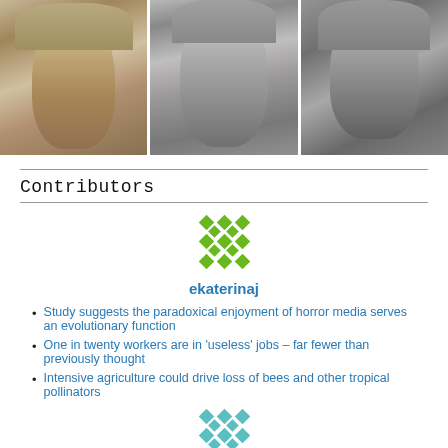[Figure (photo): Three black-and-white portrait photos side by side: a historical figure in sepia, Alan Turing, and a woman in period dress]
Contributors
[Figure (logo): Green geometric/mosaic pattern avatar icon for user ekaterinaj]
ekaterinaj
Study suggests the paradoxical enjoyment of horror media serves an evolutionary function
One in twenty workers are in 'useless' jobs – far fewer than previously thought
Intensive agriculture could drive loss of bees and other tropical pollinators
[Figure (logo): Teal/cyan geometric mosaic pattern avatar icon (second contributor)]